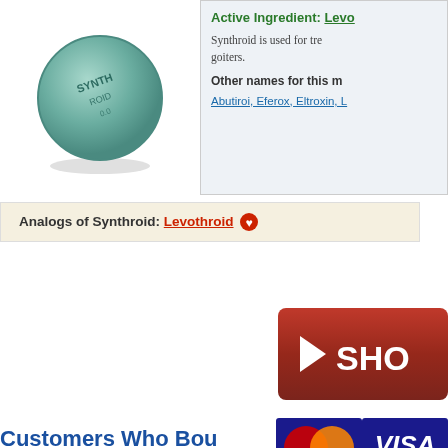[Figure (photo): Synthroid pill - round green/teal tablet with SYNTHROID text embossed on it]
Active Ingredient: Levo
Synthroid is used for tre goiters.
Other names for this m
Abutiroi, Eferox, Eltroxin, L
Analogs of Synthroid: Levothroid
[Figure (other): Red button with white play triangle icon and SHO text (partially visible SHOP NOW button)]
[Figure (other): MasterCard and VISA payment logos side by side]
Customers Who Bought